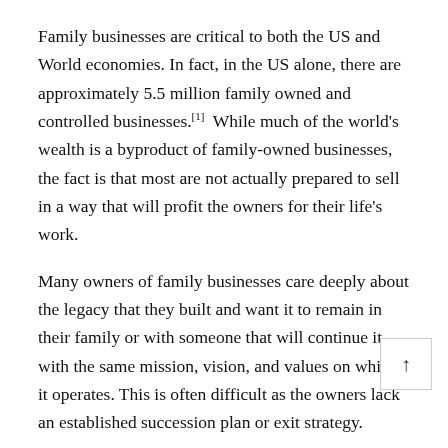Family businesses are critical to both the US and World economies. In fact, in the US alone, there are approximately 5.5 million family owned and controlled businesses.[1]  While much of the world's wealth is a byproduct of family-owned businesses, the fact is that most are not actually prepared to sell in a way that will profit the owners for their life's work.
Many owners of family businesses care deeply about the legacy that they built and want it to remain in their family or with someone that will continue it with the same mission, vision, and values on which it operates. This is often difficult as the owners lack an established succession plan or exit strategy.
Studies show that about one-third of family owners